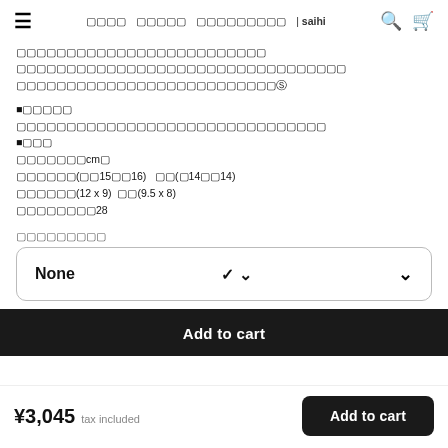≡  □□□□  □□□□□  □□□□□□□□□ | saihi  🔍  🛒
□□□□□□□□□□□□□□□□□□□□□□□□□
□□□□□□□□□□□□□□□□□□□□□□□□□□□□□□□□□
□□□□□□□□□□□□□□□□□□□□□□□□□□©
■□□□□□
□□□□□□□□□□□□□□□□□□□□□□□□□□□□□
■□□□
□□□□□□□□cm□
□□□□□□(□□15□□16)　□□(□14□□14)
□□□□□□(12 x 9)　□□(9.5 x 8)
□□□□□□□□□28
□□□□□□□□□
[Figure (other): Dropdown selector showing 'None' with chevron arrow]
Add to cart
¥3,045  tax included
Add to cart